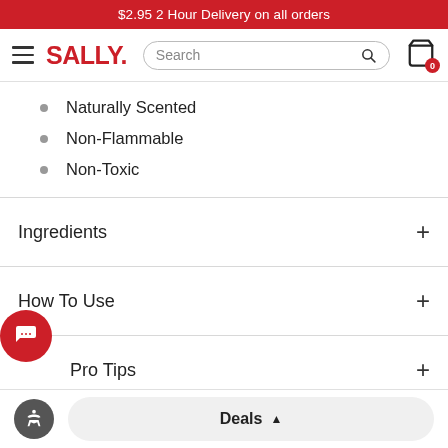$2.95 2 Hour Delivery on all orders
[Figure (screenshot): Sally Beauty website navigation bar with hamburger menu, Sally logo in red, search bar, and shopping cart icon with 0 badge]
Naturally Scented
Non-Flammable
Non-Toxic
Ingredients
How To Use
Pro Tips
Shipping
Deals